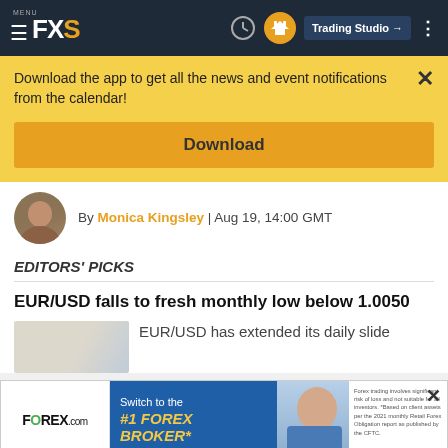MENU FXS | Trading Studio
Download the app to get all the news and event notifications from the calendar!
Download
By Monica Kingsley | Aug 19, 14:00 GMT
EDITORS' PICKS
EUR/USD falls to fresh monthly low below 1.0050
EUR/USD has extended its daily slide
[Figure (screenshot): FOREX.com advertisement banner: Switch to the #1 FOREX BROKER]
©2022 "FXStreet" All Rights Reserved   Disclaimer ▲